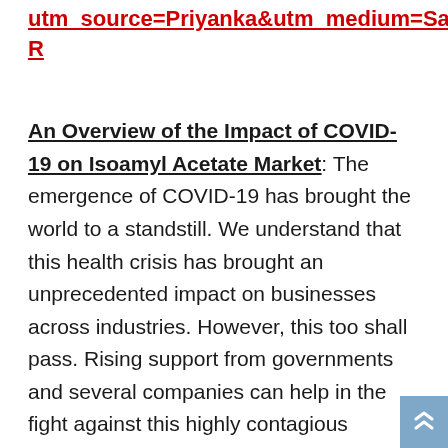utm_source=Priyanka&utm_medium=SatF R
An Overview of the Impact of COVID-19 on Isoamyl Acetate Market
The emergence of COVID-19 has brought the world to a standstill. We understand that this health crisis has brought an unprecedented impact on businesses across industries. However, this too shall pass. Rising support from governments and several companies can help in the fight against this highly contagious disease. There are some industries that are struggling and